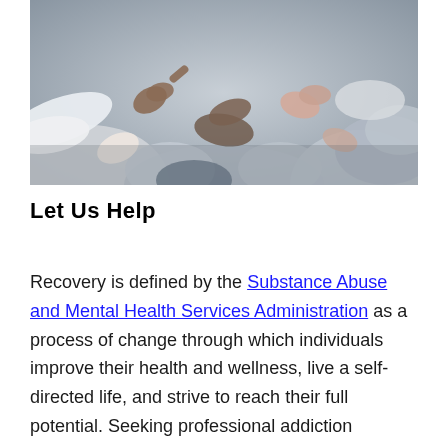[Figure (photo): Group of people sitting in a circle, hands gesturing, appearing to be in a group therapy or support group session. Close-up view of hands and laps, muted blue-gray tones.]
Let Us Help
Recovery is defined by the Substance Abuse and Mental Health Services Administration as a process of change through which individuals improve their health and wellness, live a self-directed life, and strive to reach their full potential. Seeking professional addiction